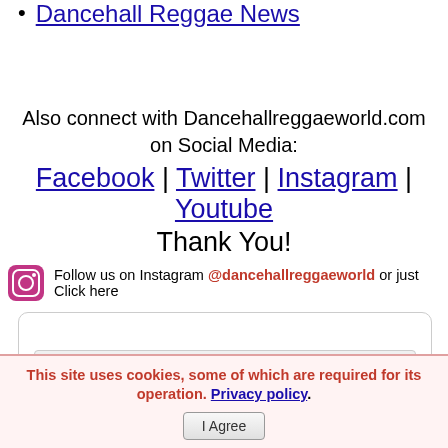Dancehall Reggae News
Also connect with Dancehallreggaeworld.com on Social Media:
Facebook | Twitter | Instagram | Youtube
Thank You!
Follow us on Instagram @dancehallreggaeworld or just Click here
[Figure (other): Box with [START HERE] link button]
This site uses cookies, some of which are required for its operation. Privacy policy. I Agree